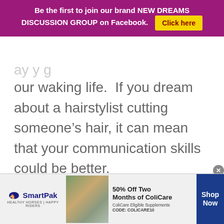[Figure (infographic): Purple banner advertisement: 'Be the first to join our brand NEW DREAMS DISCUSSION GROUP on Facebook.' with a yellow 'Click here' button]
our waking life.  If you dream about a hairstylist cutting someone’s hair, it can mean that your communication skills could be better.
[Figure (infographic): SmartPak advertisement banner: '50% Off Two Months of ColiCare, ColiCare Eligible Supplements, CODE: COLICARE10' with Shop Now button and horse photo]